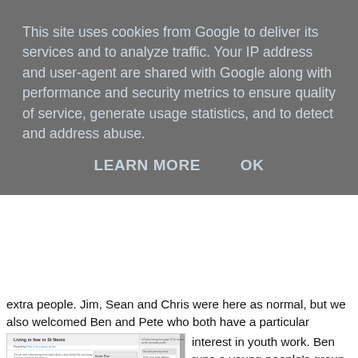This site uses cookies from Google to deliver its services and to analyze traffic. Your IP address and user-agent are shared with Google along with performance and security metrics to ensure quality of service, generate usage statistics, and to detect and address abuse.
LEARN MORE    OK
extra people. Jim, Sean and Chris were here as normal, but we also welcomed Ben and Pete who both have a particular interest in youth work. Ben runs a young people's group in Little Paxton, Pete runs youth camps every summer.
[Figure (screenshot): Screenshot of a blog post titled 'Living in fear in St Neots' with article text and sidebar elements including a subscribe section and blog archive.]
We spent a lot of time talking, and a number of very interesting ideas and thoughts were shared. Pete told us about his background and how he came to be involved in youth work. Chris explained about the problems in St Neots that had started him thinking and praying, Ben